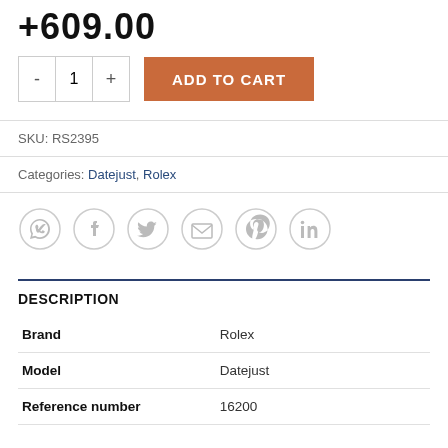+609.00
[Figure (screenshot): E-commerce product page section showing quantity selector with minus, 1, plus buttons and an orange ADD TO CART button]
SKU: RS2395
Categories: Datejust, Rolex
[Figure (other): Row of six social sharing icon circles: WhatsApp, Facebook, Twitter, Email, Pinterest, LinkedIn — all in light grey]
DESCRIPTION
|  |  |
| --- | --- |
| Brand | Rolex |
| Model | Datejust |
| Reference number | 16200 |